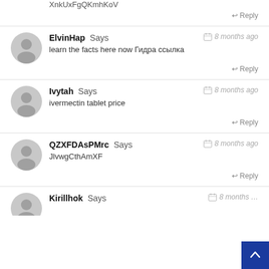XnkUxFgQKmhKoV
Reply
ElvinHap Says — 8 months ago
learn the facts here now Гидра ссылка
Reply
Ivytah Says — 8 months ago
ivermectin tablet price
Reply
QZXFDAsPMrc Says — 8 months ago
JlvwgCthAmXF
Reply
Kirillhok Says — 8 months …